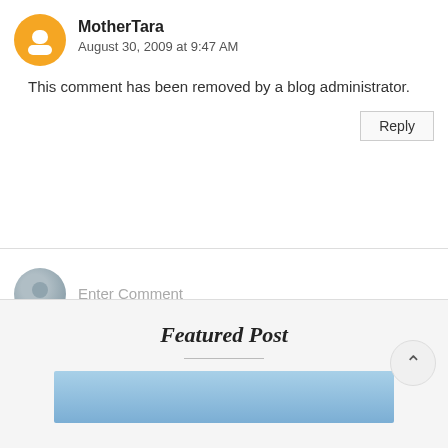MotherTara
August 30, 2009 at 9:47 AM
This comment has been removed by a blog administrator.
Reply
Enter Comment
Featured Post